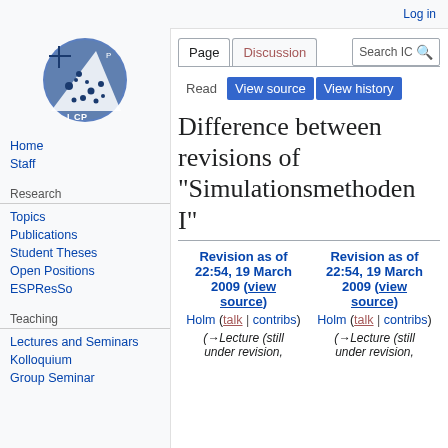Log in
[Figure (logo): ICP research group logo - blue circle with scattered dots and triangle shape]
Home
Staff
Research
Topics
Publications
Student Theses
Open Positions
ESPResSo
Teaching
Lectures and Seminars
Kolloquium
Group Seminar
Difference between revisions of "Simulationsmethoden I"
| Revision as of 22:54, 19 March 2009 (view source) | Revision as of 22:54, 19 March 2009 (view source) |
| --- | --- |
| Holm (talk | contribs) | Holm (talk | contribs) |
| (→Lecture (still under revision, | (→Lecture (still under revision, |